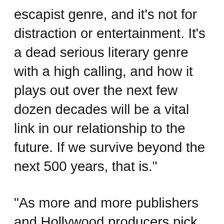escapist genre, and it's not for distraction or entertainment. It's a dead serious literary genre with a high calling, and how it plays out over the next few dozen decades will be a vital link in our relationship to the future. If we survive beyond the next 500 years, that is."
"As more and more publishers and Hollywood producers pick up cli-fi novels for publication and adaptation to movies, the rising new genre may very well play an important role in helping prepare future generations for what's